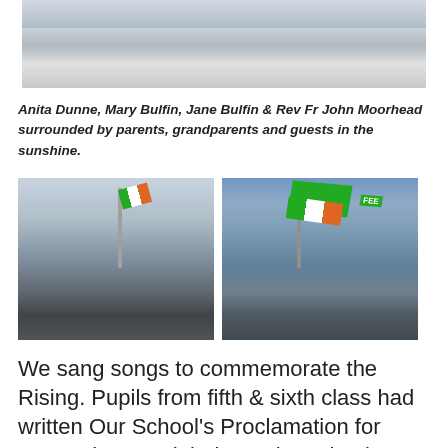[Figure (photo): Partial photo showing feet and legs of people standing outdoors in sunshine]
Anita Dunne, Mary Bulfin, Jane Bulfin  &  Rev Fr John Moorhead surrounded by parents, grandparents and  guests in the sunshine.
[Figure (photo): Two outdoor photos side by side: left shows crowd of children with flag being raised on a pole; right shows Irish tricolor flag and green FEE flag flying against blue sky]
We sang songs to commemorate the Rising.  Pupils from fifth & sixth class had written Our School's Proclamation for  2016. They read their proclamation  in front of the